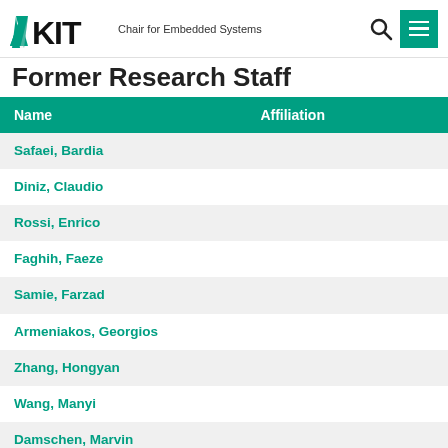KIT – Chair for Embedded Systems
Former Research Staff
| Name | Affiliation |
| --- | --- |
| Safaei, Bardia |  |
| Diniz, Claudio |  |
| Rossi, Enrico |  |
| Faghih, Faeze |  |
| Samie, Farzad |  |
| Armeniakos, Georgios |  |
| Zhang, Hongyan |  |
| Wang, Manyi |  |
| Damschen, Marvin |  |
| Bakhshalipour, Mohammad |  |